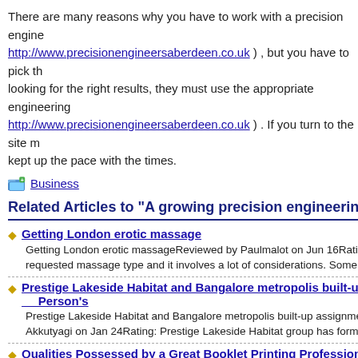There are many reasons why you have to work with a precision engine http://www.precisionengineersaberdeen.co.uk ) , but you have to pick th looking for the right results, they must use the appropriate engineering http://www.precisionengineersaberdeen.co.uk ) . If you turn to the site m kept up the pace with the times.
Business
Related Articles to "A growing precision engineering com
Getting London erotic massage
Getting London erotic massageReviewed by Paulmalot on Jun 16Rating requested massage type and it involves a lot of considerations. Some m
Prestige Lakeside Habitat and Bangalore metropolis built-up a Person's
Prestige Lakeside Habitat and Bangalore metropolis built-up assignmen Akkutyagi on Jan 24Rating: Prestige Lakeside Habitat group has formed
Qualities Possessed by a Great Booklet Printing Professional
Qualities Possessed by a Great Booklet Printing ProfessionalReviewed b keep in mind the fact that in the business world it is.. Read more